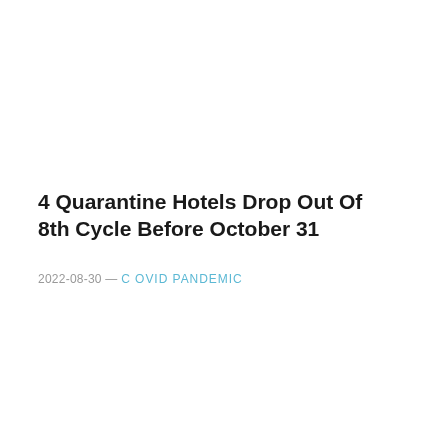4 Quarantine Hotels Drop Out Of 8th Cycle Before October 31
2022-08-30 — COVID PANDEMIC